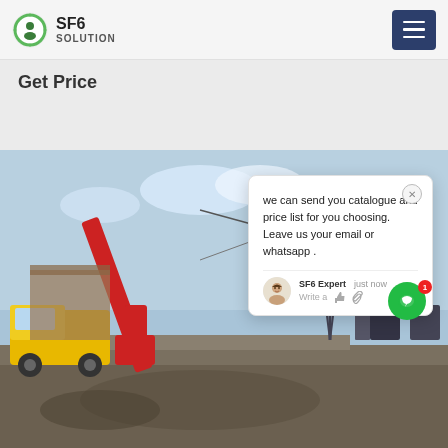SF6 SOLUTION
Get Price
[Figure (photo): Construction site showing a yellow truck, a large red crane, power transmission towers and substation equipment under a partly cloudy sky.]
we can send you catalogue and price list for you choosing. Leave us your email or whatsapp .
SF6 Expert   just now
Write a